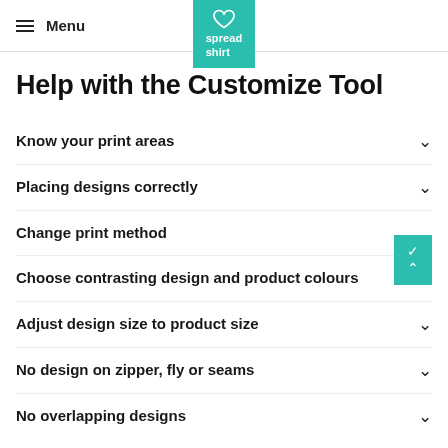Menu | Spreadshirt logo
Help with the Customize Tool
Know your print areas
Placing designs correctly
Change print method
Choose contrasting design and product colours
Adjust design size to product size
No design on zipper, fly or seams
No overlapping designs